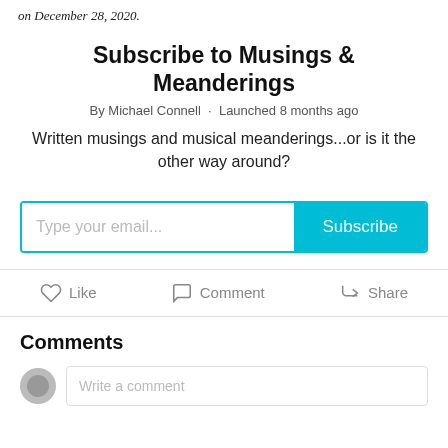on December 28, 2020.
Subscribe to Musings & Meanderings
By Michael Connell · Launched 8 months ago
Written musings and musical meanderings...or is it the other way around?
[Figure (screenshot): Email subscription input box with placeholder 'Type your email...' and a cyan 'Subscribe' button]
Comments
Write a comment